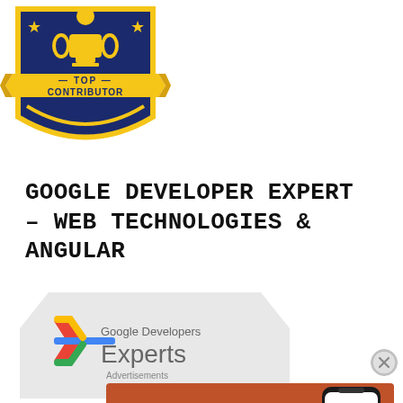[Figure (illustration): Top Contributor badge — golden shield shape with dark navy background, gold stars at top, gold trophy icon, bold text TOP CONTRIBUTOR on gold ribbon banner]
GOOGLE DEVELOPER EXPERT – WEB TECHNOLOGIES & ANGULAR
[Figure (logo): Google Developers Experts logo — colorful arrow/chevron icon with text 'Google Developers Experts']
Advertisements
[Figure (screenshot): DuckDuckGo advertisement banner with orange/red background. Text: 'Search, browse, and email with more privacy. All in One Free App'. Shows a phone with DuckDuckGo app icon and DuckDuckGo. branding.]